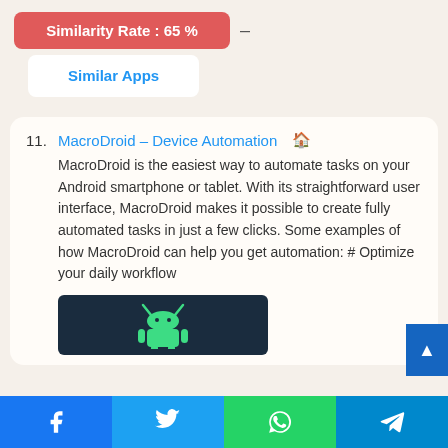Similarity Rate : 65 %
Similar Apps
11. MacroDroid – Device Automation 🏠
MacroDroid is the easiest way to automate tasks on your Android smartphone or tablet. With its straightforward user interface, MacroDroid makes it possible to create fully automated tasks in just a few clicks. Some examples of how MacroDroid can help you get automation: # Optimize your daily workflow
[Figure (screenshot): MacroDroid app icon screenshot showing Android robot logo on dark background]
[Figure (infographic): Social share bar with Facebook, Twitter, WhatsApp, Telegram buttons]